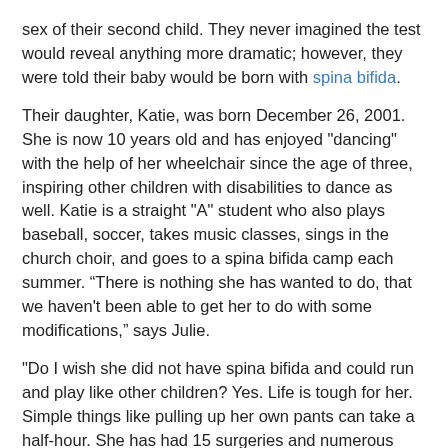sex of their second child. They never imagined the test would reveal anything more dramatic; however, they were told their baby would be born with spina bifida.
Their daughter, Katie, was born December 26, 2001. She is now 10 years old and has enjoyed "dancing" with the help of her wheelchair since the age of three, inspiring other children with disabilities to dance as well. Katie is a straight "A" student who also plays baseball, soccer, takes music classes, sings in the church choir, and goes to a spina bifida camp each summer. “There is nothing she has wanted to do, that we haven't been able to get her to do with some modifications,” says Julie.
"Do I wish she did not have spina bifida and could run and play like other children? Yes. Life is tough for her. Simple things like pulling up her own pants can take a half-hour. She has had 15 surgeries and numerous hospitalizations because of infections," says Julie. "But our family has learned to appreciate the small things in life more. She has been a blessing to our family."